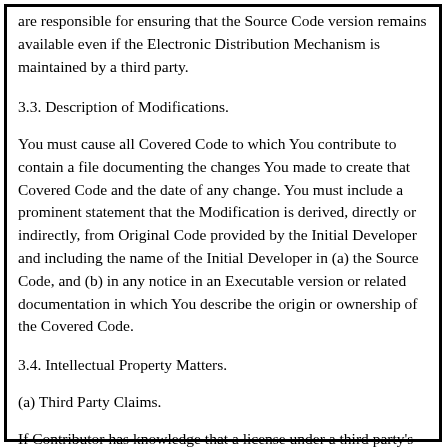are responsible for ensuring that the Source Code version remains available even if the Electronic Distribution Mechanism is maintained by a third party.
3.3. Description of Modifications.
You must cause all Covered Code to which You contribute to contain a file documenting the changes You made to create that Covered Code and the date of any change. You must include a prominent statement that the Modification is derived, directly or indirectly, from Original Code provided by the Initial Developer and including the name of the Initial Developer in (a) the Source Code, and (b) in any notice in an Executable version or related documentation in which You describe the origin or ownership of the Covered Code.
3.4. Intellectual Property Matters.
(a) Third Party Claims.
If Contributor has knowledge that a license under a third party's intellectual property rights is required